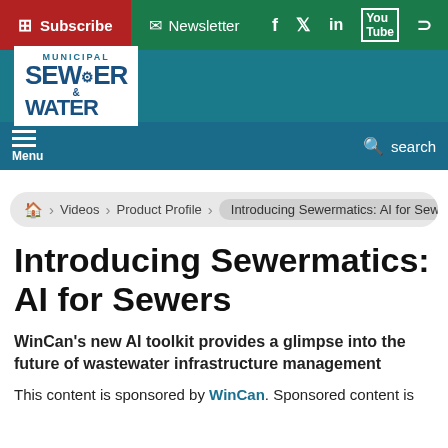Subscribe | Newsletter | f | in | YouTube | RSS
[Figure (logo): Municipal Sewer & Water magazine logo on teal background]
Menu | search
Home > Videos > Product Profile > Introducing Sewermatics: AI for Sewers
Introducing Sewermatics: AI for Sewers
WinCan's new AI toolkit provides a glimpse into the future of wastewater infrastructure management
This content is sponsored by WinCan. Sponsored content is